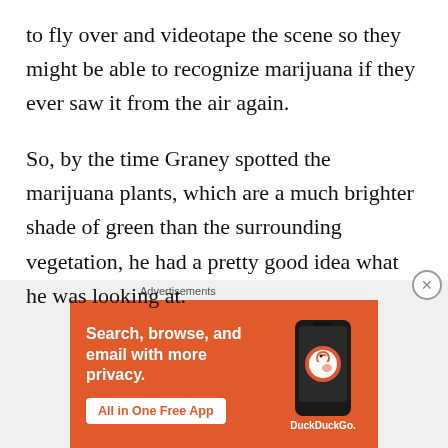to fly over and videotape the scene so they might be able to recognize marijuana if they ever saw it from the air again.
So, by the time Graney spotted the marijuana plants, which are a much brighter shade of green than the surrounding vegetation, he had a pretty good idea what he was looking at.
Superintendent Garry McCarthy, whose officers are more used to intercepting shipments of marijuana
[Figure (infographic): Advertisement banner for DuckDuckGo app with orange background. Text: 'Search, browse, and email with more privacy. All in One Free App' with DuckDuckGo logo and phone image.]